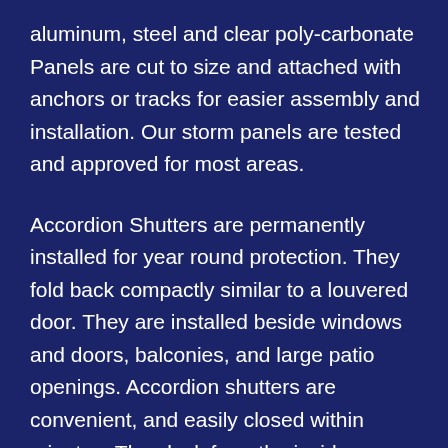aluminum, steel and clear poly-carbonate Panels are cut to size and attached with anchors or tracks for easier assembly and installation. Our storm panels are tested and approved for most areas.
Accordion Shutters are permanently installed for year round protection. They fold back compactly similar to a louvered door. They are installed beside windows and doors, balconies, and large patio openings. Accordion shutters are convenient, and easily closed within minutes. They lock from the inside or outside for increased security and protection. Accordions are made of aluminum and should be cleaned and lubricated yearly. Accordion shutters are considered one of the strongest shutters available.